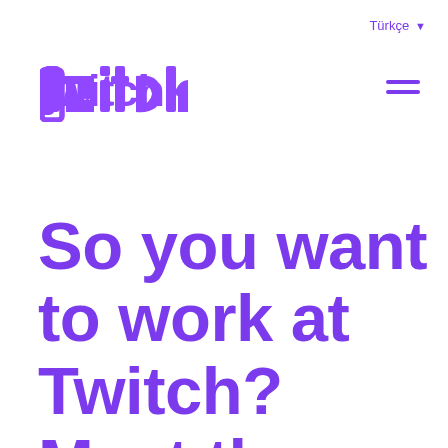Türkçe
[Figure (logo): Twitch logo in purple with outlined blocky lettering]
So you want to work at Twitch? Meet the IVS Core team, with Song King!